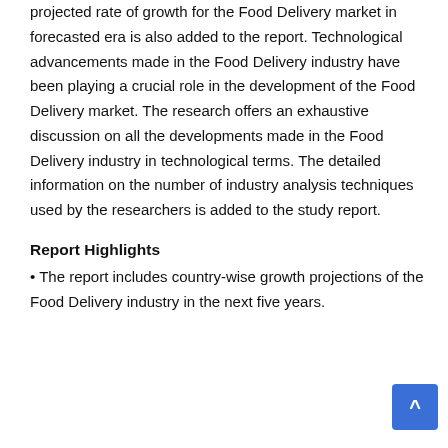projected rate of growth for the Food Delivery market in forecasted era is also added to the report. Technological advancements made in the Food Delivery industry have been playing a crucial role in the development of the Food Delivery market. The research offers an exhaustive discussion on all the developments made in the Food Delivery industry in technological terms. The detailed information on the number of industry analysis techniques used by the researchers is added to the study report.
Report Highlights
• The report includes country-wise growth projections of the Food Delivery industry in the next five years.